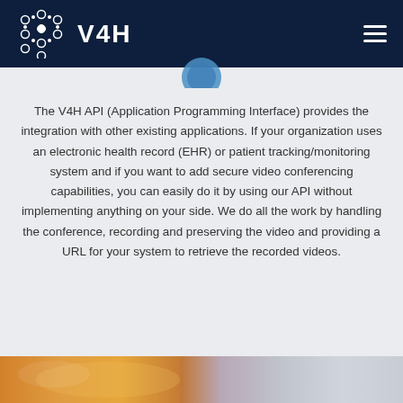V4H
[Figure (logo): V4H logo with circular dot pattern on dark navy background header bar]
The V4H API (Application Programming Interface) provides the integration with other existing applications. If your organization uses an electronic health record (EHR) or patient tracking/monitoring system and if you want to add secure video conferencing capabilities, you can easily do it by using our API without implementing anything on your side. We do all the work by handling the conference, recording and preserving the video and providing a URL for your system to retrieve the recorded videos.
[Figure (photo): Bottom strip photo showing what appears to be a mobile device or medical device, partially cropped]